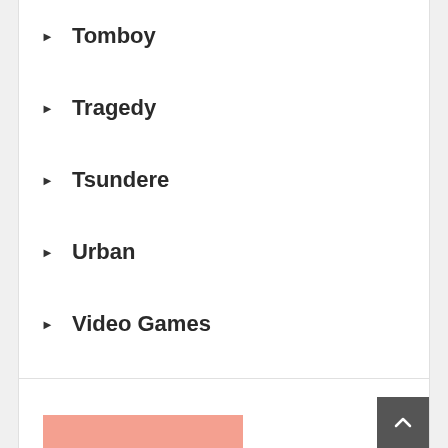Tomboy
Tragedy
Tsundere
Urban
Video Games
War
Webtoon
Webtoons
Work
Yaoi
Yuri
[Figure (other): Partial view of a pink/salmon colored banner or image at the bottom of the page, with a scroll-to-top arrow button in dark grey on the right.]